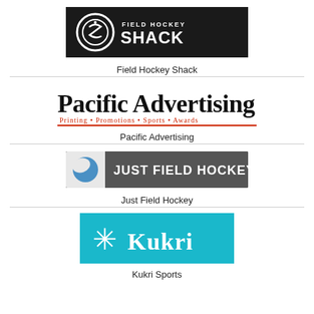[Figure (logo): Field Hockey Shack logo — black background with circular FHS emblem and text FIELD HOCKEY SHACK in white]
Field Hockey Shack
[Figure (logo): Pacific Advertising logo — bold black serif text 'Pacific Advertising' with red subtitle 'Printing • Promotions • Sports • Awards']
Pacific Advertising
[Figure (logo): Just Field Hockey logo — dark grey background with blue/white circular icon and white text JUST FIELD HOCKEY]
Just Field Hockey
[Figure (logo): Kukri Sports logo — teal/cyan background with white asterisk-style mark and white text KUKRI]
Kukri Sports